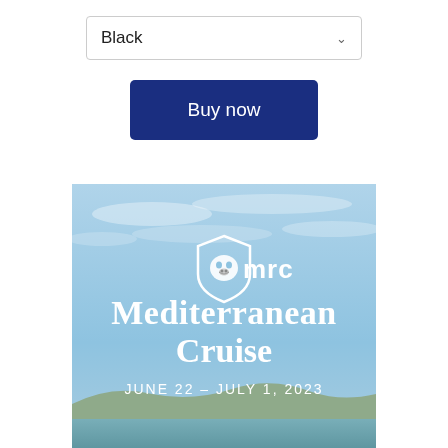Black
Buy now
[Figure (illustration): Mediterranean Cruise promotional image with light blue sky background, mrc logo (bulldog in shield), text 'Mediterranean Cruise' in large white serif font, and 'JUNE 22 – JULY 1, 2023' below in white. Coastal scene visible at bottom.]